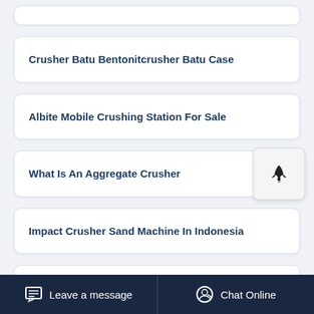Crusher Batu Bentonitcrusher Batu Case
Albite Mobile Crushing Station For Sale
What Is An Aggregate Crusher
Impact Crusher Sand Machine In Indonesia
Granite Quarry In Stone Processing Plant
Leave a message   Chat Online